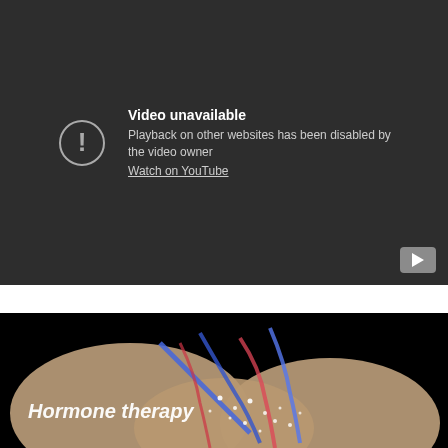[Figure (screenshot): YouTube video unavailable message on dark background. Shows exclamation mark in circle icon, text 'Video unavailable', 'Playback on other websites has been disabled by the video owner', and a 'Watch on YouTube' link. YouTube play button icon in bottom right corner.]
[Figure (screenshot): Video thumbnail or player showing medical animation of hormone therapy — anatomical illustration with beige/tan tissue, blue and red vascular structures, and glowing white particles. White italic text reads 'Hormone therapy' overlaid on the image.]